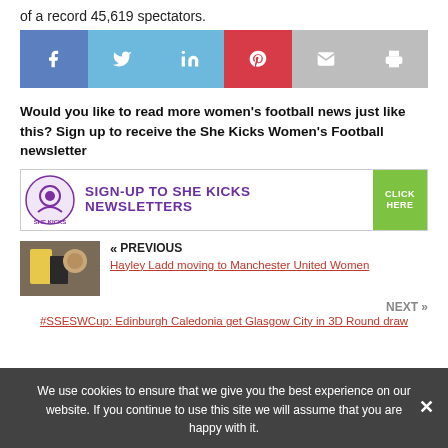of a record 45,619 spectators.
[Figure (infographic): Social sharing buttons: Facebook (blue), Twitter (light blue), LinkedIn (light blue), Pinterest (red), Email (gray), Print (gray)]
Would you like to read more women’s football news just like this? Sign up to receive the She Kicks Women’s Football newsletter
[Figure (infographic): She Kicks newsletter sign-up banner with purple text SIGN-UP TO SHE KICKS NEWSLETTERS and green CLICK HERE button]
« PREVIOUS
Hayley Ladd moving to Manchester United Women
NEXT »
#SSESWCup: Edinburgh Caledonia get Glasgow City in 3D Round draw
We use cookies to ensure that we give you the best experience on our website. If you continue to use this site we will assume that you are happy with it.